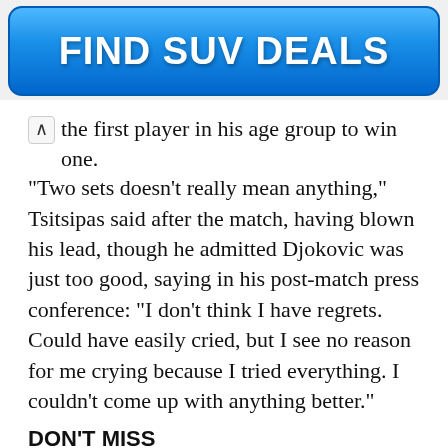[Figure (other): Blue gradient advertising banner button with white bold text reading FIND SUV DEALS]
the first player in his age group to win one.
“Two sets doesn’t really mean anything,” Tsitsipas said after the match, having blown his lead, though he admitted Djokovic was just too good, saying in his post-match press conference: “I don’t think I have regrets. Could have easily cried, but I see no reason for me crying because I tried everything. I couldn’t come up with anything better.”
DON’T MISS
Murray ‘very sad’ after hearing of Del